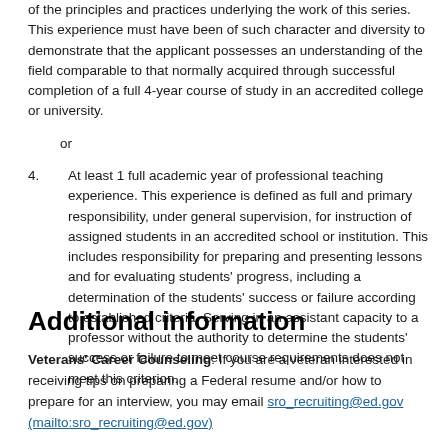of the principles and practices underlying the work of this series. This experience must have been of such character and diversity to demonstrate that the applicant possesses an understanding of the field comparable to that normally acquired through successful completion of a full 4-year course of study in an accredited college or university.
or
4. At least 1 full academic year of professional teaching experience. This experience is defined as full and primary responsibility, under general supervision, for instruction of assigned students in an accredited school or institution. This includes responsibility for preparing and presenting lessons and for evaluating students' progress, including a determination of the students' success or failure according to established criteria. Serving in an assistant capacity to a professor without the authority to determine the students' success or failure to meet course requirements does not meet this criterion.
Additional information
Veterans' Career Counseling: If you are a veteran interested in receiving tips on preparing a Federal resume and/or how to prepare for an interview, you may email sro_recruiting@ed.gov (mailto:sro_recruiting@ed.gov)